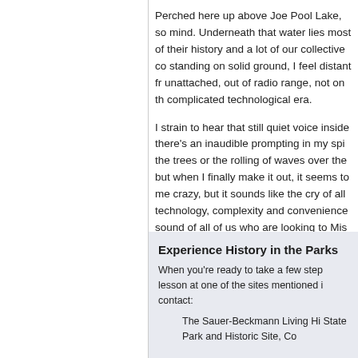Perched here up above Joe Pool Lake, so mind. Underneath that water lies most of their history and a lot of our collective co standing on solid ground, I feel distant fr unattached, out of radio range, not on th complicated technological era.
I strain to hear that still quiet voice inside there's an inaudible prompting in my spi the trees or the rolling of waves over the but when I finally make it out, it seems to me crazy, but it sounds like the cry of all technology, complexity and convenience sound of all of us who are looking to Mis thing home on the power we've got left.
Experience History in the Parks
When you're ready to take a few step lesson at one of the sites mentioned i contact:
The Sauer-Beckmann Living Hi State Park and Historic Site, Co